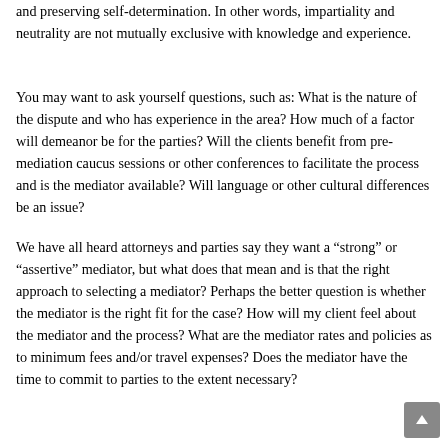and preserving self-determination. In other words, impartiality and neutrality are not mutually exclusive with knowledge and experience.
You may want to ask yourself questions, such as: What is the nature of the dispute and who has experience in the area? How much of a factor will demeanor be for the parties? Will the clients benefit from pre-mediation caucus sessions or other conferences to facilitate the process and is the mediator available? Will language or other cultural differences be an issue?
We have all heard attorneys and parties say they want a “strong” or “assertive” mediator, but what does that mean and is that the right approach to selecting a mediator? Perhaps the better question is whether the mediator is the right fit for the case? How will my client feel about the mediator and the process? What are the mediator rates and policies as to minimum fees and/or travel expenses? Does the mediator have the time to commit to parties to the extent necessary?